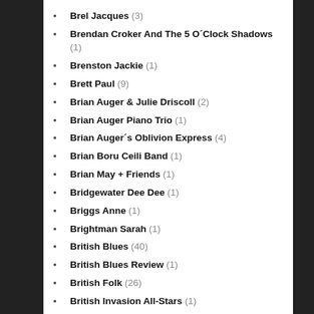Brel Jacques (3)
Brendan Croker And The 5 O´Clock Shadows (1)
Brenston Jackie (1)
Brett Paul (9)
Brian Auger & Julie Driscoll (2)
Brian Auger Piano Trio (1)
Brian Auger´s Oblivion Express (4)
Brian Boru Ceili Band (1)
Brian May + Friends (1)
Bridgewater Dee Dee (1)
Briggs Anne (1)
Brightman Sarah (1)
British Blues (40)
British Blues Review (1)
British Folk (26)
British Invasion All-Stars (1)
British Lions (1)
British R & B (34)
British Sea Power (1)
Broadbent Jim (1)
Broadway Musicals Society (1)